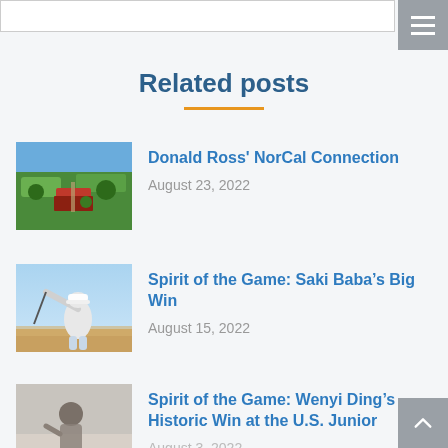Related posts
Donald Ross' NorCal Connection | August 23, 2022
Spirit of the Game: Saki Baba's Big Win | August 15, 2022
Spirit of the Game: Wenyi Ding's Historic Win at the U.S. Junior | August 3, 2022